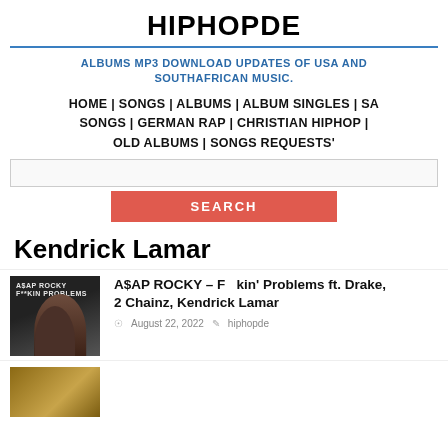HIPHOPDE
ALBUMS MP3 DOWNLOAD UPDATES OF USA AND SOUTHAFRICAN MUSIC.
HOME | SONGS | ALBUMS | ALBUM SINGLES | SA SONGS | GERMAN RAP | CHRISTIAN HIPHOP | OLD ALBUMS | SONGS REQUESTS'
[Figure (screenshot): Search input box]
[Figure (screenshot): SEARCH button in red]
Kendrick Lamar
[Figure (photo): A$AP Rocky - F**kin Problems album cover thumbnail showing A$AP Rocky]
A$AP ROCKY – F  kin' Problems ft. Drake, 2 Chainz, Kendrick Lamar
August 22, 2022  hiphopde
[Figure (photo): Second article thumbnail partially visible]